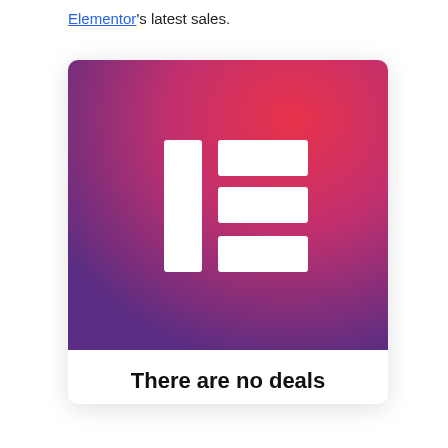Elementor's latest sales.
[Figure (logo): Elementor logo — a white IE monogram on a pink-to-purple gradient square background, rounded corners.]
There are no deals